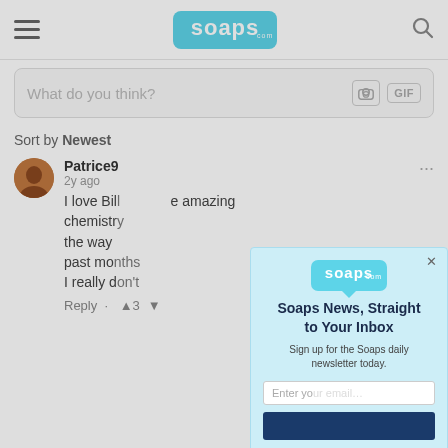[Figure (screenshot): Soaps.com website screenshot showing navigation bar with hamburger menu, soaps logo, and search icon]
What do you think?
Sort by Newest
Patrice9
2y ago
I love Bil... e amazing chemistr... the way ... past mo... I really d...
[Figure (screenshot): Email signup modal overlay: Soaps News, Straight to Your Inbox. Sign up for the Soaps daily newsletter today. Email input and subscribe button.]
[Figure (screenshot): Video player overlay, black background with loading spinner, progress bar at bottom showing 01:32, mute, settings, and fullscreen controls.]